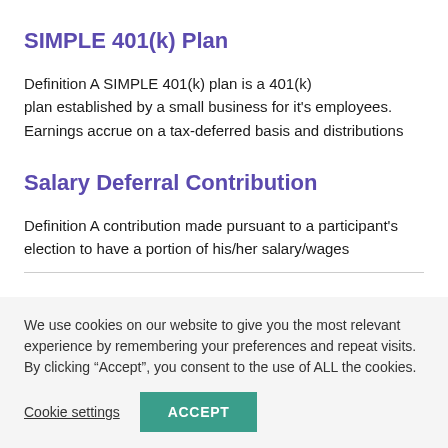SIMPLE 401(k) Plan
Definition A SIMPLE 401(k) plan is a 401(k) plan established by a small business for it's employees. Earnings accrue on a tax-deferred basis and distributions
Salary Deferral Contribution
Definition A contribution made pursuant to a participant's election to have a portion of his/her salary/wages
We use cookies on our website to give you the most relevant experience by remembering your preferences and repeat visits. By clicking “Accept”, you consent to the use of ALL the cookies.
Cookie settings  ACCEPT